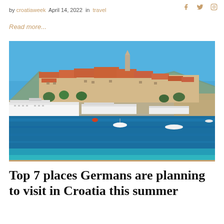by croatiaweek · April 14, 2022 · in · travel
Read more...
[Figure (photo): Coastal Croatian town (Korčula) with orange-roofed stone buildings on a peninsula, cruise ships and small boats on bright blue sea, mountains in background, clear blue sky.]
Top 7 places Germans are planning to visit in Croatia this summer